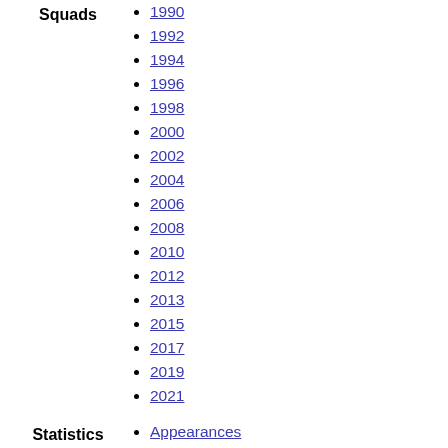Squads
1990
1992
1994
1996
1998
2000
2002
2004
2006
2008
2010
2012
2013
2015
2017
2019
2021
Statistics
Appearances
Records and statistics
Hat-tricks
Football in Africa portal • No qualification took place in 1957 and 1959 as places were given by invitation only. In 1959 and 1976, there was no final; the article is about the decisive